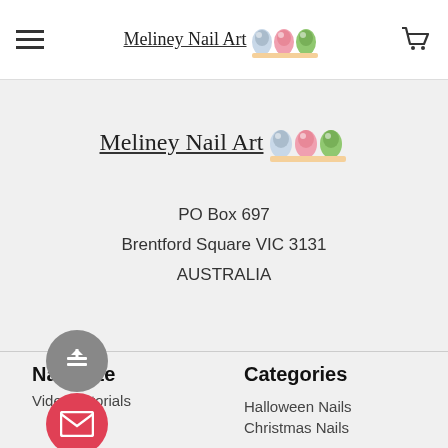Meliney Nail Art [nail art icons]
Meliney Nail Art
PO Box 697
Brentford Square VIC 3131
AUSTRALIA
Navigate
Categories
Video Tutorials
Halloween Nails
Christmas Nails